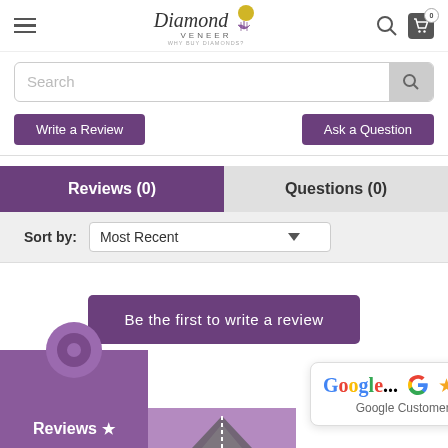Diamond Veneer - Why Buy Diamonds!
Search
Write a Review | Ask a Question
Reviews (0) | Questions (0)
Sort by: Most Recent
Be the first to write a review
Reviews ★
Google Customer Reviews